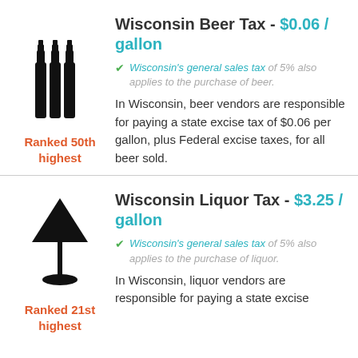[Figure (illustration): Three black beer bottles silhouette icon]
Ranked 50th highest
Wisconsin Beer Tax - $0.06 / gallon
Wisconsin's general sales tax of 5% also applies to the purchase of beer.
In Wisconsin, beer vendors are responsible for paying a state excise tax of $0.06 per gallon, plus Federal excise taxes, for all beer sold.
[Figure (illustration): Black martini glass silhouette icon]
Ranked 21st highest
Wisconsin Liquor Tax - $3.25 / gallon
Wisconsin's general sales tax of 5% also applies to the purchase of liquor.
In Wisconsin, liquor vendors are responsible for paying a state excise